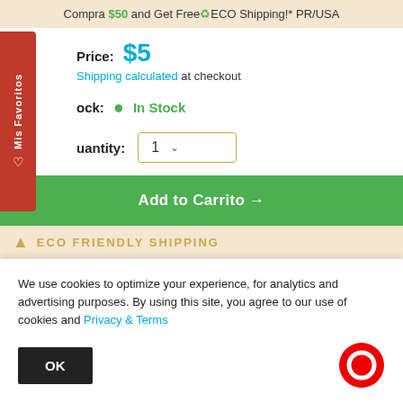Compra $50 and Get Free ECO Shipping!* PR/USA
Price: $5
Shipping calculated at checkout
Stock: In Stock
Quantity: 1
Add to Carrito →
ECO FRIENDLY SHIPPING
We use cookies to optimize your experience, for analytics and advertising purposes. By using this site, you agree to our use of cookies and Privacy & Terms
OK